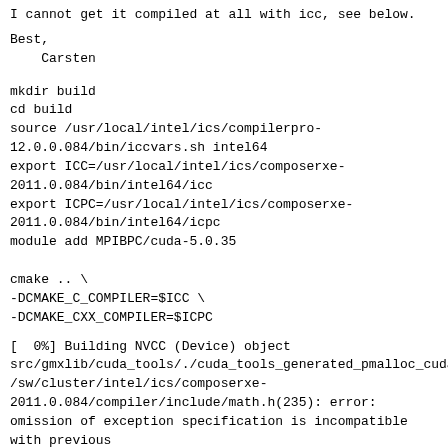I cannot get it compiled at all with icc, see below.
Best,
    Carsten
mkdir build
cd build
source /usr/local/intel/ics/compilerpro-
12.0.0.084/bin/iccvars.sh intel64
export ICC=/usr/local/intel/ics/composerxe-
2011.0.084/bin/intel64/icc
export ICPC=/usr/local/intel/ics/composerxe-
2011.0.084/bin/intel64/icpc
module add MPIBPC/cuda-5.0.35

cmake .. \
-DCMAKE_C_COMPILER=$ICC \
-DCMAKE_CXX_COMPILER=$ICPC
[  0%] Building NVCC (Device) object
src/gmxlib/cuda_tools/./cuda_tools_generated_pmalloc_cuda
/sw/cluster/intel/ics/composerxe-
2011.0.084/compiler/include/math.h(235): error:
omission of exception specification is incompatible
with previous
function "__isinff"
/usr/local/cuda/cuda50/toolkit/5.0.35/include/math_funct